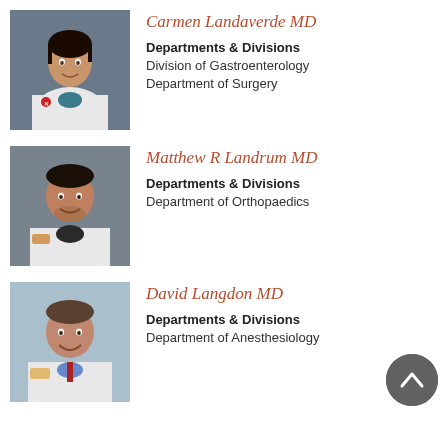[Figure (photo): Professional headshot of Carmen Landaverde MD, a woman in a white lab coat]
Carmen Landaverde MD
Departments & Divisions
Division of Gastroenterology
Department of Surgery
[Figure (photo): Professional headshot of Matthew R Landrum MD, a man in a white lab coat]
Matthew R Landrum MD
Departments & Divisions
Department of Orthopaedics
[Figure (photo): Professional headshot of David Langdon MD, a man in a white lab coat]
David Langdon MD
Departments & Divisions
Department of Anesthesiology